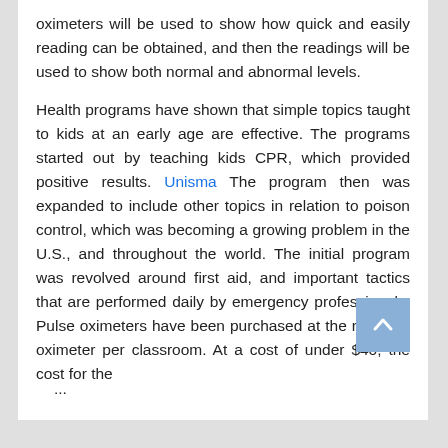oximeters will be used to show how quick and easily reading can be obtained, and then the readings will be used to show both normal and abnormal levels.
Health programs have shown that simple topics taught to kids at an early age are effective. The programs started out by teaching kids CPR, which provided positive results. Unisma The program then was expanded to include other topics in relation to poison control, which was becoming a growing problem in the U.S., and throughout the world. The initial program was revolved around first aid, and important tactics that are performed daily by emergency professionals. Pulse oximeters have been purchased at the rate of 5 oximeter per classroom. At a cost of under $40, the cost for the
...